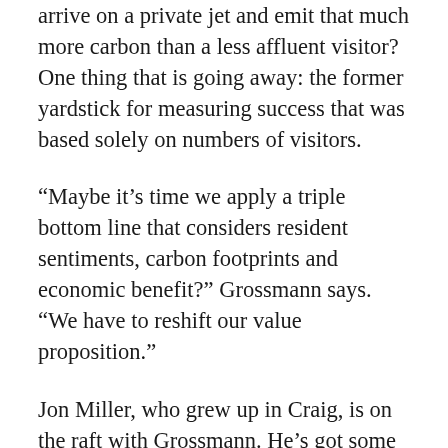arrive on a private jet and emit that much more carbon than a less affluent visitor? One thing that is going away: the former yardstick for measuring success that was based solely on numbers of visitors.
“Maybe it’s time we apply a triple bottom line that considers resident sentiments, carbon footprints and economic benefit?” Grossmann says. “We have to reshift our value proposition.”
Jon Miller, who grew up in Craig, is on the raft with Grossmann. He’s got some ideas on how to better include locals in the planning and management of outdoor recreation in